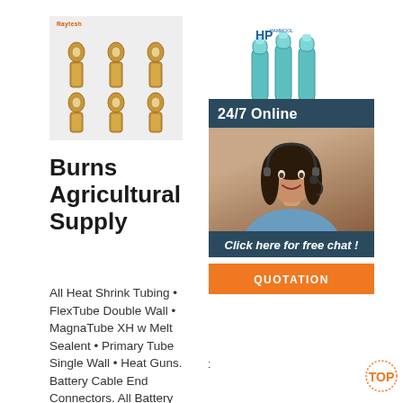[Figure (photo): Raytesh branded ring terminal/cable end connectors, 6 pieces arranged in 2 rows of 3, yellowish/gold metal crimp connectors with silver ring ends, on light grey background]
Burns Agricultural Supply
All Heat Shrink Tubing • FlexTube Double Wall • MagnaTube XH w Melt Sealent • Primary Tube Single Wall • Heat Guns. Battery Cable End Connectors. All Battery Cable End
[Figure (photo): Hammool (HP logo) branded blue/teal heat shrink tubing pieces standing upright, 3-4 pieces visible, with 24/7 Online banner and customer service agent photo overlay, Click here for free chat and QUOTATION button]
Hon Dico Hea Shri Tub
Dicore is a one-stop supplier of various heat shrink tubing for wholesale, including clear heat shrink tubing, large heat shrink